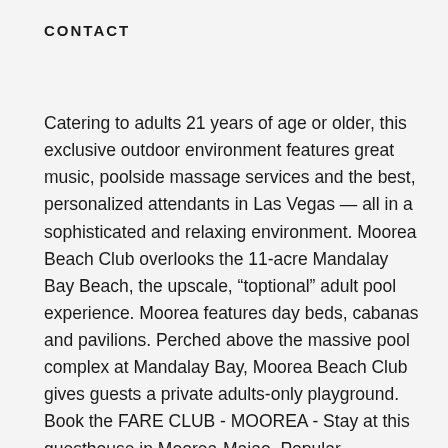CONTACT
Catering to adults 21 years of age or older, this exclusive outdoor environment features great music, poolside massage services and the best, personalized attendants in Las Vegas — all in a sophisticated and relaxing environment. Moorea Beach Club overlooks the 11-acre Mandalay Bay Beach, the upscale, “toptional” adult pool experience. Moorea features day beds, cabanas and pavilions. Perched above the massive pool complex at Mandalay Bay, Moorea Beach Club gives guests a private adults-only playground. Book the FARE CLUB - MOOREA - Stay at this guesthouse in Moorea-Maiao. Popular attractions Le Petit Village and Tiahura Beach are located nearby. Moorea beach club provides guests with a private, upscale, and sophisticated pool experience. Discover genuine guest reviews for FARE CLUB - MOOREA along with the latest prices and availability – book now. Manava Beach Resort & Spa Moorea is nestled on the island shore, just by the village of Maharepa in an ideal location, near the majestic Cook’s Bay and the Golf of Moorea. Enjoy